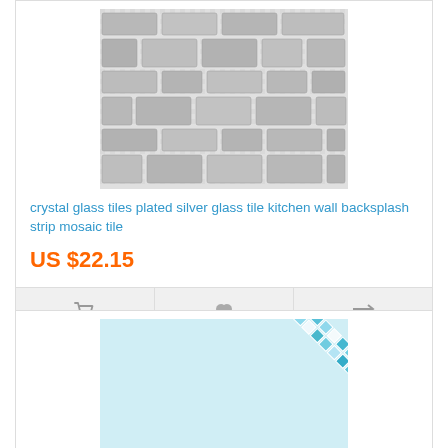[Figure (photo): Silver/grey metallic rectangular mosaic glass tiles with crystal glass background, silver plated strip pattern]
crystal glass tiles plated silver glass tile kitchen wall backsplash strip mosaic tile
US $22.15
[Figure (infographic): Action bar with cart, heart/wishlist, and compare icons on grey background]
[Figure (photo): Blue/teal and white small square glass mosaic tiles in a diagonal grid pattern]